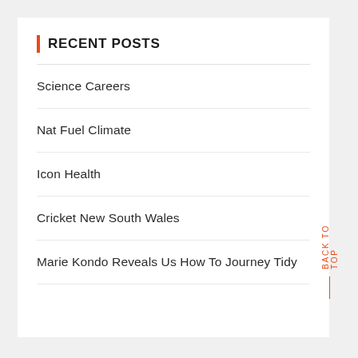RECENT POSTS
Science Careers
Nat Fuel Climate
Icon Health
Cricket New South Wales
Marie Kondo Reveals Us How To Journey Tidy